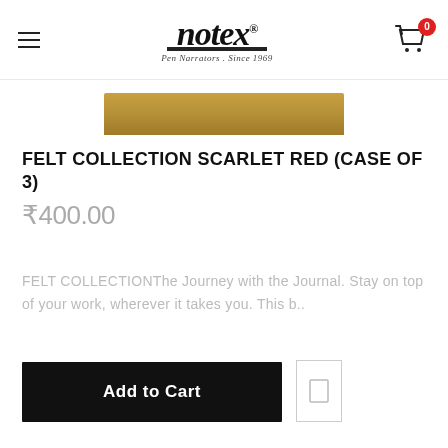notex - Pen Narrators. Since 1969
[Figure (photo): Partial view of a wooden-textured notebook/journal product in tan/brown color]
FELT COLLECTION SCARLET RED (CASE OF 3)
₹400.00
FELT COLLECTIONThe Journey with the Journal. Stay on top of your work, wherever it takes you. This b..
Add to Cart